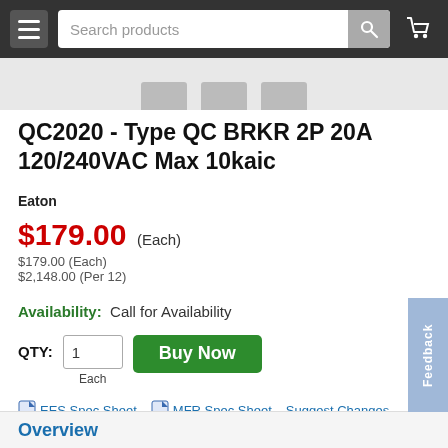Search products
QC2020 - Type QC BRKR 2P 20A 120/240VAC Max 10kaic
Eaton
$179.00 (Each)
$179.00 (Each)
$2,148.00 (Per 12)
Availability: Call for Availability
QTY: 1 Each
EES Spec Sheet   MFR Spec Sheet   Suggest Changes
Overview